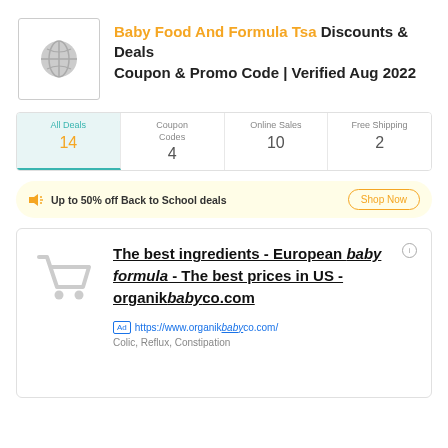Baby Food And Formula Tsa Discounts & Deals Coupon & Promo Code | Verified Aug 2022
| All Deals | Coupon Codes | Online Sales | Free Shipping |
| --- | --- | --- | --- |
| 14 | 4 | 10 | 2 |
Up to 50% off Back to School deals
Shop Now
[Figure (screenshot): Advertisement card with shopping cart icon, showing: 'The best ingredients - European baby formula - The best prices in US - organikbabyco.com' with URL https://www.organikbabyco.com/ and subtext 'Colic, Reflux, Constipation']